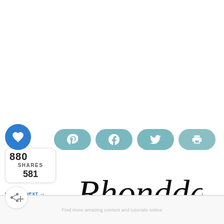[Figure (screenshot): Social share sidebar with heart/save button showing 880 shares count (581 shown), a share button, and four teal social sharing buttons (Pinterest, Facebook, Twitter, Print)]
[Figure (illustration): Cursive signature reading 'Rhondda' in black script]
WHAT'S NEXT → 20 Free Crochet...
Footer area with light gray background